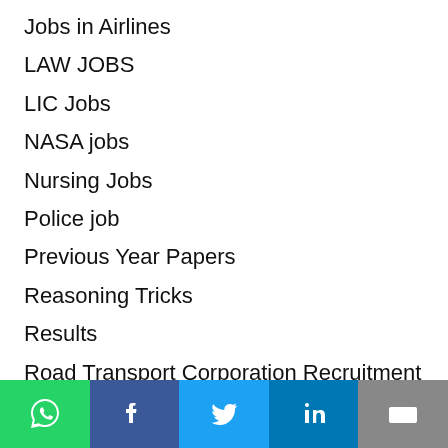Jobs in Airlines
LAW JOBS
LIC Jobs
NASA jobs
Nursing Jobs
Police job
Previous Year Papers
Reasoning Tricks
Results
Road Transport Corporation Recruitment
Static GK
Tricks To Remember
UGC NET Paper 1 Classes
video tutorials
[Figure (infographic): Social sharing bar with WhatsApp, Facebook, Twitter, LinkedIn, and Email buttons]